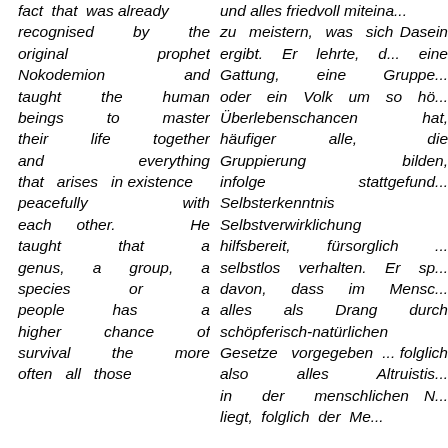fact that was already recognised by the original prophet Nokodemion and taught the human beings to master their life together and everything that arises in existence peacefully with each other. He taught that a genus, a group, a species or a people has a higher chance of survival the more often all those
und alles friedvoll miteina... zu meistern, was sich Dasein ergibt. Er lehrte, eine Gattung, eine Gruppe oder ein Volk um so hö... Überlebenschancen hat, häufiger alle, die Gruppierung bilden, infolge stattgefund... Selbsterkenntnis Selbstverwirklichung hilfsbereit, fürsorglich selbstlos verhalten. Er sp... davon, dass im Mensc... alles als Drang durch schöpferisch-natürlichen Gesetze vorgegeben folglich also alles Altruistis... in der menschlichen N... liegt, folglich der Me...